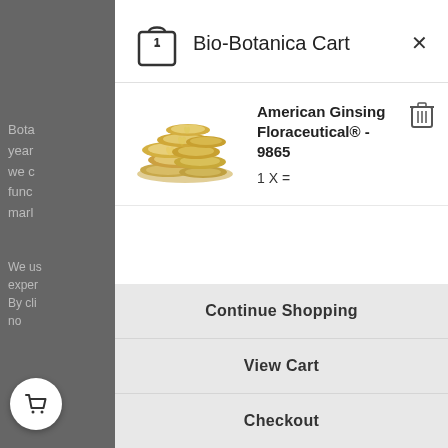Bio-Botanica Cart
American Ginsing Floraceutical® - 9865
1 X =
Continue Shopping
View Cart
Checkout